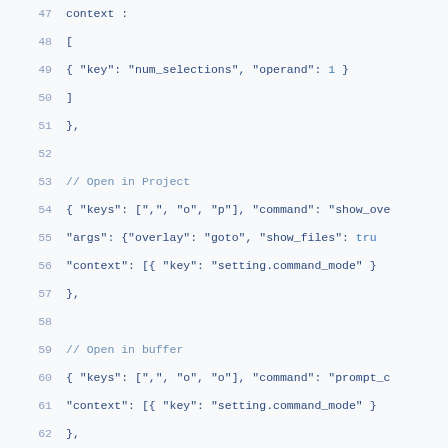47    context :
48        [
49            { "key": "num_selections", "operand": 1 }
50        ]
51    },
52
53    // Open in Project
54    { "keys": [",", "o", "p"], "command": "show_ove
55      "args": {"overlay": "goto", "show_files": tru
56      "context": [{ "key": "setting.command_mode" }
57    },
58
59    // Open in buffer
60    { "keys": [",", "o", "o"], "command": "prompt_c
61      "context": [{ "key": "setting.command_mode" }
62    },
63
64    // Toggle comment
65    { "keys": [",", "c", " "], "command": "toggle_c
66      "args": { "block": false }
67    },
68
69    // Move cursor to left group